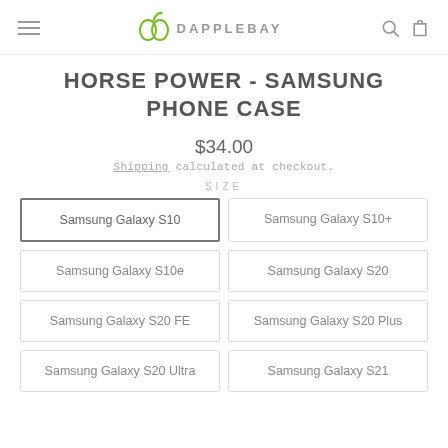DAPPLEBAY
HORSE POWER - SAMSUNG PHONE CASE
$34.00
Shipping calculated at checkout.
SIZE
Samsung Galaxy S10
Samsung Galaxy S10+
Samsung Galaxy S10e
Samsung Galaxy S20
Samsung Galaxy S20 FE
Samsung Galaxy S20 Plus
Samsung Galaxy S20 Ultra
Samsung Galaxy S21